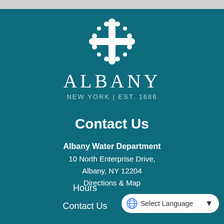[Figure (logo): Albany NY city logo with decorative cross/snowflake symbol and text ALBANY NEW YORK | EST. 1686 on teal background]
Contact Us
Albany Water Department
10 North Enterprise Drive,
Albany, NY 12204
Directions & Map
Hours
Contact Us
[Figure (screenshot): Google Translate Select Language widget button]